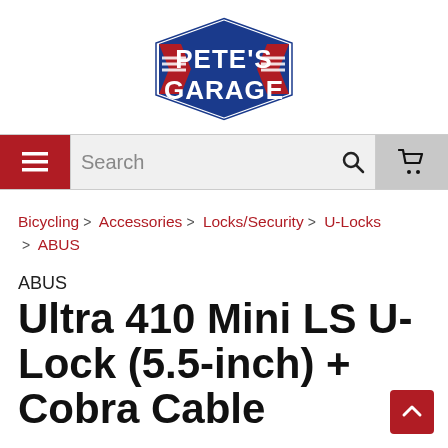[Figure (logo): Pete's Garage logo — blue hexagonal badge with red chevrons on left and right, white bold text reading PETE'S GARAGE]
[Figure (screenshot): Navigation bar with red hamburger menu button on left, search input field with magnifying glass icon in center, and grey shopping cart button on right]
Bicycling > Accessories > Locks/Security > U-Locks > ABUS
ABUS
Ultra 410 Mini LS U-Lock (5.5-inch) + Cobra Cable